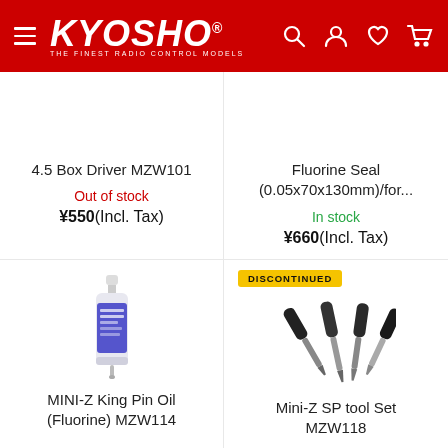Kyosho - The Finest Radio Control Models
[Figure (screenshot): Product card: 4.5 Box Driver MZW101, Out of stock, ¥550(Incl. Tax)]
[Figure (screenshot): Product card: Fluorine Seal (0.05x70x130mm)/for..., In stock, ¥660(Incl. Tax)]
[Figure (photo): Small bottle of MINI-Z King Pin Oil (Fluorine) MZW114]
[Figure (photo): Set of Mini-Z SP tool set MZW118, with DISCONTINUED badge]
4.5 Box Driver MZW101
Out of stock
¥550(Incl. Tax)
Fluorine Seal (0.05x70x130mm)/for...
In stock
¥660(Incl. Tax)
MINI-Z King Pin Oil (Fluorine) MZW114
Mini-Z SP tool Set MZW118
DISCONTINUED